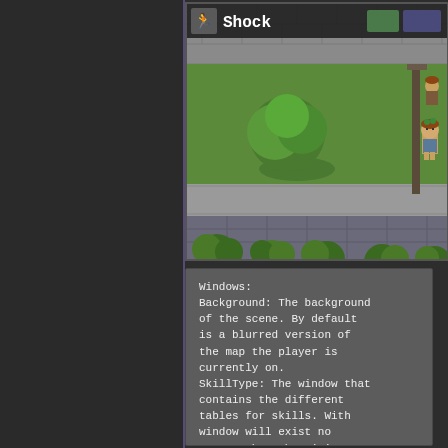[Figure (screenshot): RPG Maker-style top-down game screenshot showing a map with trees, grass, cobblestone path, and a character sprite. A header bar at the top shows a running figure icon and the text 'Shock'.]
Windows:
Background: The background of the scene. By default is a blurred version of the map the player is currently on.
SkillType: The window that contains the different tables for skills. With window will exist no matter what, but it's possible to remove it via